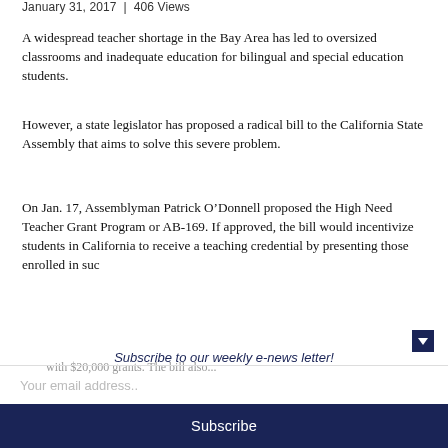January 31, 2017 | 406 Views
A widespread teacher shortage in the Bay Area has led to oversized classrooms and inadequate education for bilingual and special education students.
However, a state legislator has proposed a radical bill to the California State Assembly that aims to solve this severe problem.
On Jan. 17, Assemblyman Patrick O’Donnell proposed the High Need Teacher Grant Program or AB-169. If approved, the bill would incentivize students in California to receive a teaching credential by presenting those enrolled in such
Subscribe to our weekly e-news letter!
Your email address..
Subscribe